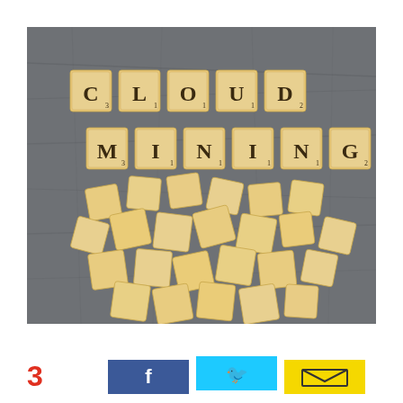[Figure (photo): A photo of Scrabble letter tiles arranged to spell 'CLOUD MINING' on a dark slate surface, with a pile of blank/face-down tiles below the words.]
3
[Figure (illustration): Facebook share button - dark blue rectangle with white 'f' logo]
[Figure (illustration): Twitter share button - cyan/light blue rectangle with white Twitter bird logo]
[Figure (illustration): Email share button - yellow rectangle with envelope icon]